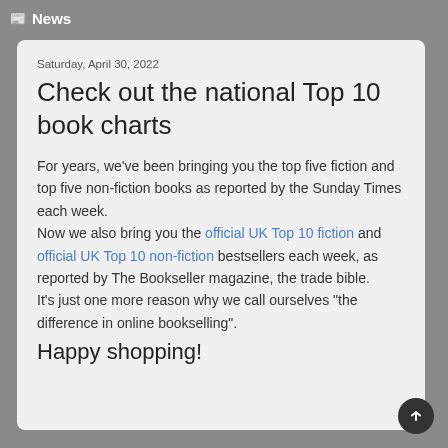📰 News
Saturday, April 30, 2022
Check out the national Top 10 book charts
For years, we've been bringing you the top five fiction and top five non-fiction books as reported by the Sunday Times each week.
Now we also bring you the official UK Top 10 fiction and official UK Top 10 non-fiction bestsellers each week, as reported by The Bookseller magazine, the trade bible.
It's just one more reason why we call ourselves "the difference in online bookselling".
Happy shopping!